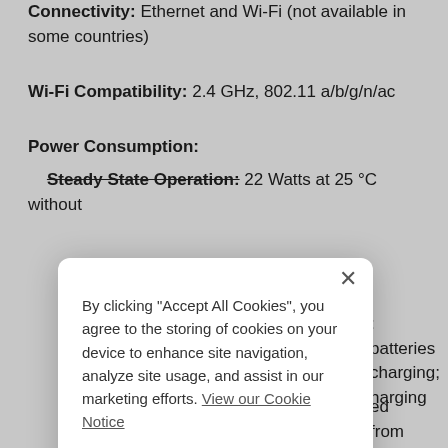Connectivity: Ethernet and Wi-Fi (not available in some countries)
Wi-Fi Compatibility: 2.4 GHz, 802.11 a/b/g/n/ac
Power Consumption:
Steady State Operation: 22 Watts at 25 °C without
: batteries charging; harging
ed from pins 3 and 4 o to 0.2 W when without batteries
Minimum 6 A at 24 V
Input): Minimum 14
Power Supply: Universal Power Adapter (Input: 100
[Figure (screenshot): Cookie consent modal dialog with 'Accept All Cookies' button and 'Cookies Settings' link, overlaying the engineering specification page content.]